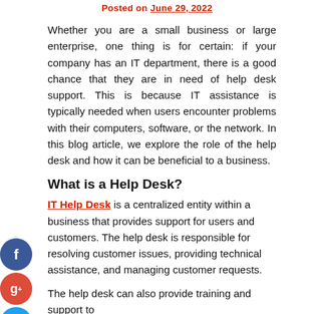Posted on June 29, 2022
Whether you are a small business or large enterprise, one thing is for certain: if your company has an IT department, there is a good chance that they are in need of help desk support. This is because IT assistance is typically needed when users encounter problems with their computers, software, or the network. In this blog article, we explore the role of the help desk and how it can be beneficial to a business.
What is a Help Desk?
IT Help Desk is a centralized entity within a business that provides support for users and customers. The help desk is responsible for resolving customer issues, providing technical assistance, and managing customer requests.
The help desk can also provide training and support to